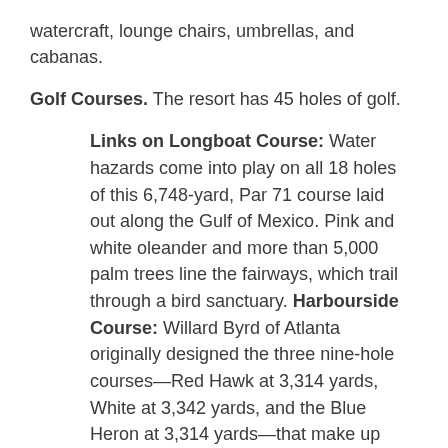watercraft, lounge chairs, umbrellas, and cabanas.
Golf Courses. The resort has 45 holes of golf.
Links on Longboat Course: Water hazards come into play on all 18 holes of this 6,748-yard, Par 71 course laid out along the Gulf of Mexico. Pink and white oleander and more than 5,000 palm trees line the fairways, which trail through a bird sanctuary. Harbourside Course: Willard Byrd of Atlanta originally designed the three nine-hole courses—Red Hawk at 3,314 yards, White at 3,342 yards, and the Blue Heron at 3,314 yards—that make up Harbourside. These were later reconfigured by designer Ron Garl, who added more contour and elevation and improved the putting surfaces. Situated on the Sarasota Bay side of the